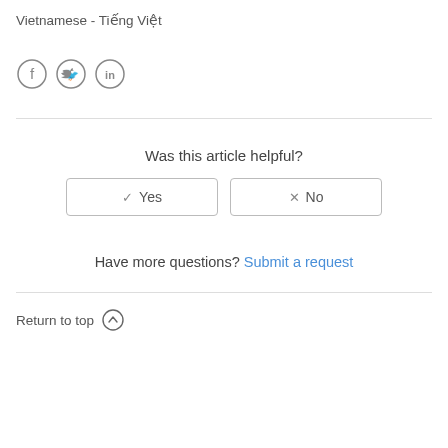Vietnamese - Tiếng Việt
[Figure (illustration): Three circular social media icons for Facebook, Twitter, and LinkedIn]
Was this article helpful?
✓ Yes  ✗ No (buttons)
Have more questions? Submit a request
Return to top ↑